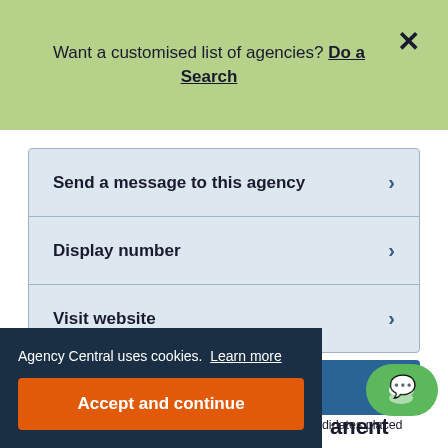Want a customised list of agencies? Do a Search
Send a message to this agency
Display number
Visit website
Hardy Recruitment - Permanent Recruitment
Agency Central uses cookies. Learn more
Accept and continue
placement ratio: 7 days average delivery; 85% of candidates placed are passive (NOT